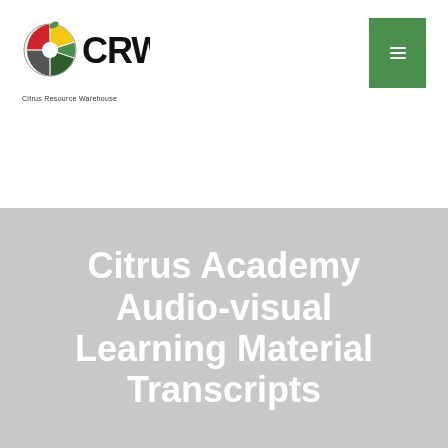[Figure (logo): CRW Citrus Resource Warehouse logo — circular citrus slice icon with colored segments (red, yellow, green, dark) beside large bold CRW text, with 'Citrus Resource Warehouse' caption below]
[Figure (other): Green square button with a small white icon (menu/info) in the top-right corner]
Citrus Academy Audio-visual Learning Material Transcripts